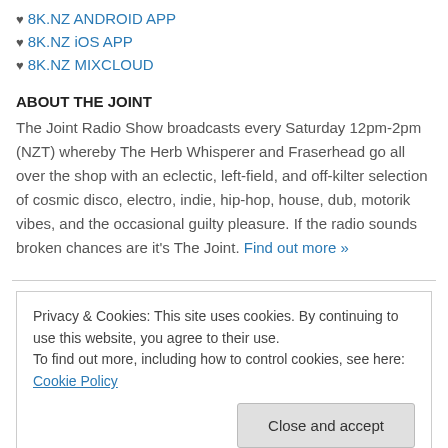♥ 8K.NZ ANDROID APP
♥ 8K.NZ iOS APP
♥ 8K.NZ MIXCLOUD
ABOUT THE JOINT
The Joint Radio Show broadcasts every Saturday 12pm-2pm (NZT) whereby The Herb Whisperer and Fraserhead go all over the shop with an eclectic, left-field, and off-kilter selection of cosmic disco, electro, indie, hip-hop, house, dub, motorik vibes, and the occasional guilty pleasure. If the radio sounds broken chances are it's The Joint. Find out more »
Privacy & Cookies: This site uses cookies. By continuing to use this website, you agree to their use.
To find out more, including how to control cookies, see here: Cookie Policy
Close and accept
We ♥ these music blogs